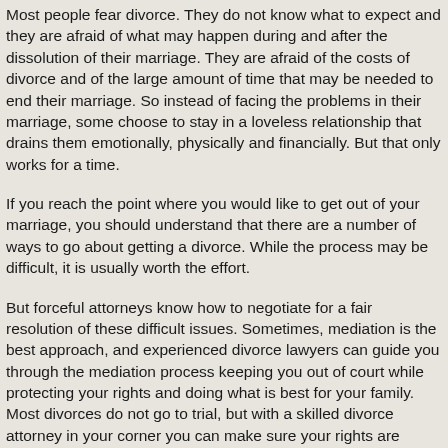Most people fear divorce. They do not know what to expect and they are afraid of what may happen during and after the dissolution of their marriage. They are afraid of the costs of divorce and of the large amount of time that may be needed to end their marriage. So instead of facing the problems in their marriage, some choose to stay in a loveless relationship that drains them emotionally, physically and financially. But that only works for a time.
If you reach the point where you would like to get out of your marriage, you should understand that there are a number of ways to go about getting a divorce. While the process may be difficult, it is usually worth the effort.
But forceful attorneys know how to negotiate for a fair resolution of these difficult issues. Sometimes, mediation is the best approach, and experienced divorce lawyers can guide you through the mediation process keeping you out of court while protecting your rights and doing what is best for your family. Most divorces do not go to trial, but with a skilled divorce attorney in your corner you can make sure your rights are protected throughout the divorce process.
Free Consultation with a Utah Divorce Attorney